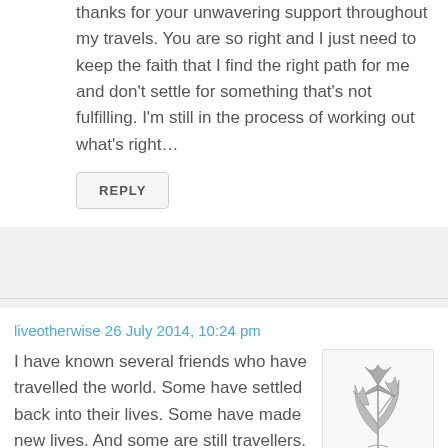thanks for your unwavering support throughout my travels. You are so right and I just need to keep the faith that I find the right path for me and don't settle for something that's not fulfilling. I'm still in the process of working out what's right…
REPLY
liveotherwise 26 July 2014, 10:24 pm
I have known several friends who have travelled the world. Some have settled back into their lives. Some have made new lives. And some are still travellers. There's no right way to be.
[Figure (illustration): Ink illustration of iris flowers with stems and leaves]
And the smiling? I feel like that when we came back